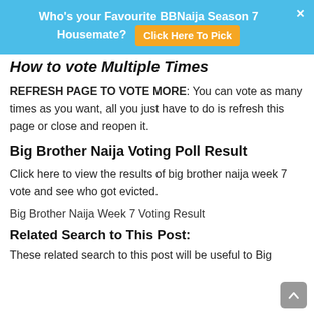Who's your Favourite BBNaija Season 7 Housemate? Click Here To Pick
How to vote Multiple Times
REFRESH PAGE TO VOTE MORE: You can vote as many times as you want, all you just have to do is refresh this page or close and reopen it.
Big Brother Naija Voting Poll Result
Click here to view the results of big brother naija week 7 vote and see who got evicted.
Big Brother Naija Week 7 Voting Result
Related Search to This Post:
These related search to this post will be useful to Big